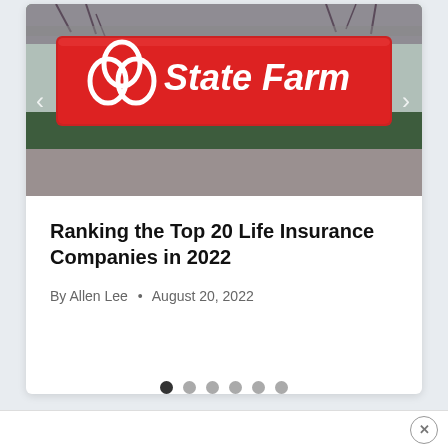[Figure (photo): State Farm outdoor sign with red background and white logo with three interlocking ovals, photographed in winter with bare trees and hedges in background]
Ranking the Top 20 Life Insurance Companies in 2022
By Allen Lee • August 20, 2022